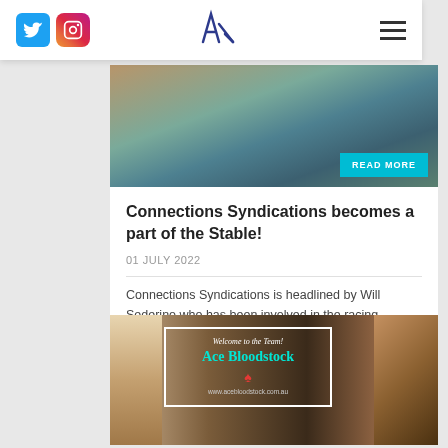Navigation bar with Twitter and Instagram icons, AM logo, hamburger menu
[Figure (photo): Blurred photo of horse with teal READ MORE button overlay]
Connections Syndications becomes a part of the Stable!
01 JULY 2022
Connections Syndications is headlined by Will Sederino who has been involved in the racing industry as an owner and syndicate manager for...
[Figure (photo): Ace Bloodstock welcome image with text: Welcome to the Team! Ace Bloodstock, www.acebloodstock.com.au]